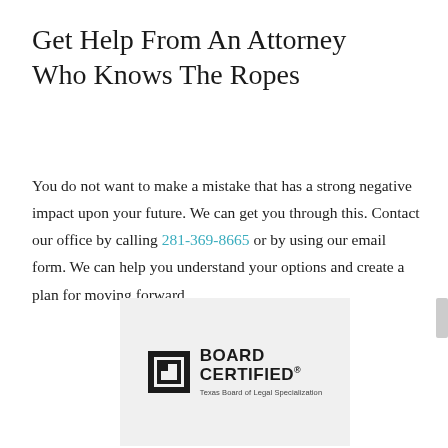Get Help From An Attorney Who Knows The Ropes
You do not want to make a mistake that has a strong negative impact upon your future. We can get you through this. Contact our office by calling 281-369-8665 or by using our email form. We can help you understand your options and create a plan for moving forward.
[Figure (logo): Board Certified Texas Board of Legal Specialization badge/logo on a light grey background]